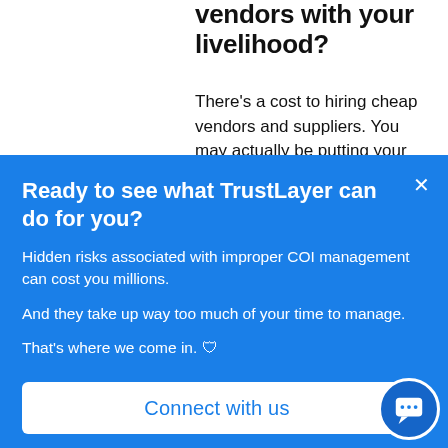vendors with your livelihood?
There's a cost to hiring cheap vendors and suppliers. You may actually be putting your business and yourself at great
Ready to see what TrustLayer can do for you?
Hidden risks associated with improper COI management  can cost you millions.
And they take up way too much of your time to manage.
That's where we come in. 🛡
Connect with us